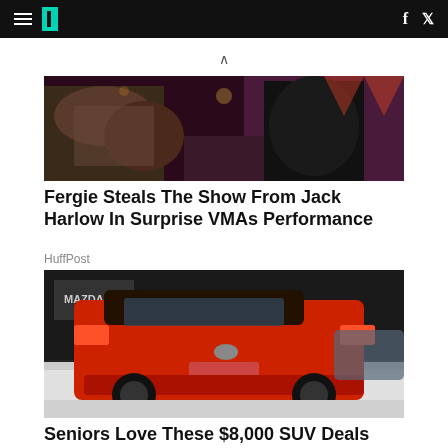HuffPost navigation with hamburger menu, logo, Facebook and Twitter icons
[Figure (photo): Fergie performing on stage, wearing a sparkly outfit, holding a microphone, with purple stage lighting and another performer in a black sequined dress]
Fergie Steals The Show From Jack Harlow In Surprise VMAs Performance
HuffPost
[Figure (photo): Red Toyota RAV4 SUV displayed at an auto show, rear three-quarter view, with Mazda signage visible in background]
Seniors Love These $8,000 SUV Deals